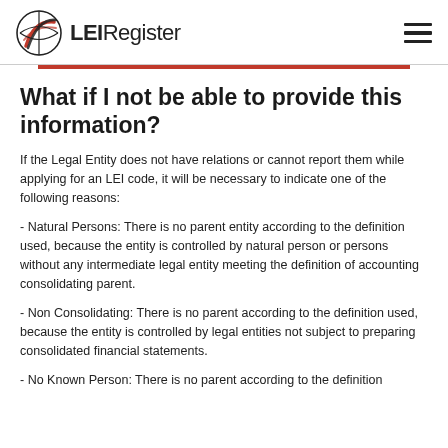LEIRegister
What if I not be able to provide this information?
If the Legal Entity does not have relations or cannot report them while applying for an LEI code, it will be necessary to indicate one of the following reasons:
- Natural Persons: There is no parent entity according to the definition used, because the entity is controlled by natural person or persons without any intermediate legal entity meeting the definition of accounting consolidating parent.
- Non Consolidating: There is no parent according to the definition used, because the entity is controlled by legal entities not subject to preparing consolidated financial statements.
- No Known Person: There is no parent according to the definition